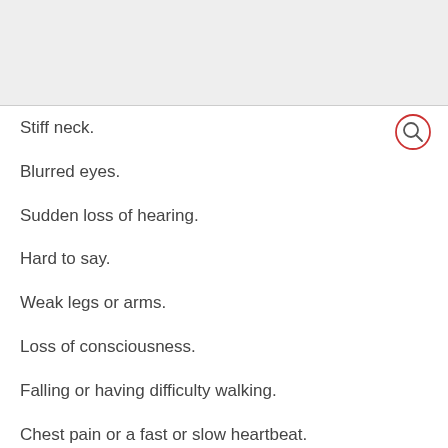[Figure (other): Gray top bar / header area of a mobile app screen]
[Figure (other): Search icon (magnifying glass) in red circle, top right corner]
Stiff neck.
Blurred eyes.
Sudden loss of hearing.
Hard to say.
Weak legs or arms.
Loss of consciousness.
Falling or having difficulty walking.
Chest pain or a fast or slow heartbeat.
Causes